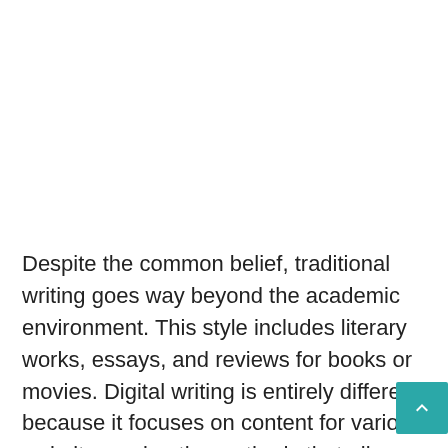Despite the common belief, traditional writing goes way beyond the academic environment. This style includes literary works, essays, and reviews for books or movies. Digital writing is entirely different because it focuses on content for various websites, using the methods that allow better indexing by search eng
If you're creating content for a website, your